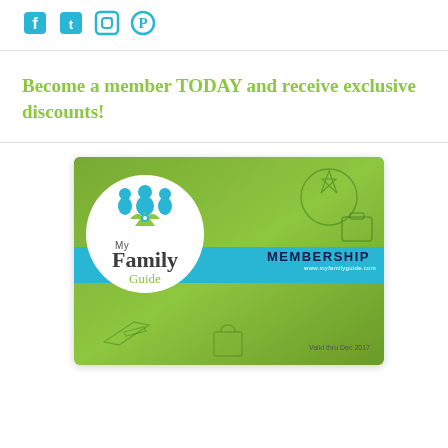[Figure (illustration): Social media icons: Facebook, Twitter, Instagram, Pinterest in teal/cyan color]
Become a member TODAY and receive exclusive discounts!
[Figure (photo): Photo of a My Family Guide Membership card (green card with logo, cyan stripe reading MEMBERSHIP, valid thru Dec 2017) on a blurred outdoor background]